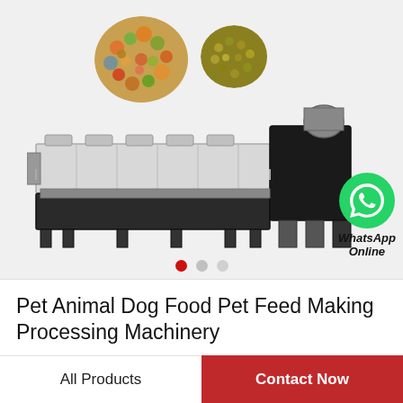[Figure (photo): Industrial pet food / animal feed extrusion processing machine (large metal machine with conveyor and motor), with two inset circular photos of pet food pellets (colorful kibble and green pellets) in the upper portion. WhatsApp Online button/icon overlaid at bottom right.]
WhatsApp Online
Pet Animal Dog Food Pet Feed Making Processing Machinery
All Products
Contact Now